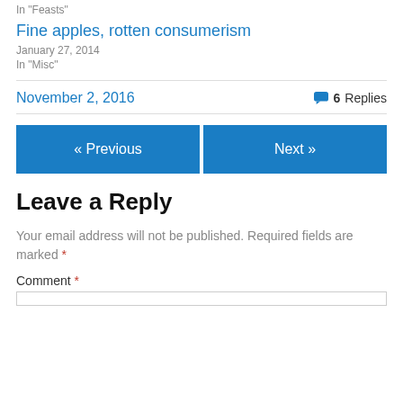In "Feasts"
Fine apples, rotten consumerism
January 27, 2014
In "Misc"
November 2, 2016
6 Replies
« Previous
Next »
Leave a Reply
Your email address will not be published. Required fields are marked *
Comment *